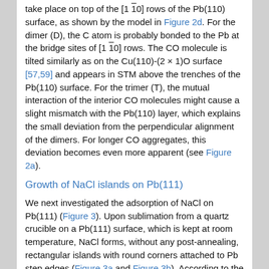take place on top of the [1 1̄0] rows of the Pb(110) surface, as shown by the model in Figure 2d. For the dimer (D), the C atom is probably bonded to the Pb at the bridge sites of [1 1̄0] rows. The CO molecule is tilted similarly as on the Cu(110)-(2 × 1)O surface [57,59] and appears in STM above the trenches of the Pb(110) surface. For the trimer (T), the mutual interaction of the interior CO molecules might cause a slight mismatch with the Pb(110) layer, which explains the small deviation from the perpendicular alignment of the dimers. For longer CO aggregates, this deviation becomes even more apparent (see Figure 2a).
Growth of NaCl islands on Pb(111)
We next investigated the adsorption of NaCl on Pb(111) (Figure 3). Upon sublimation from a quartz crucible on a Pb(111) surface, which is kept at room temperature, NaCl forms, without any post-annealing, rectangular islands with round corners attached to Pb step edges (Figure 3a and Figure 3b). According to the profile, shown in Figure 3c, which was extracted along the red and blue lines of Figure 1b, the step heights are equal to h_NaCl = 4.1 Å. This corresponds to a